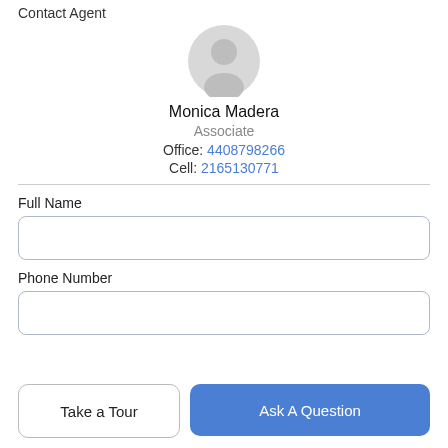Contact Agent
[Figure (illustration): Gray placeholder avatar/profile icon circle]
Monica Madera
Associate
Office: 4408798266
Cell: 2165130771
Full Name
Phone Number
Take a Tour
Ask A Question